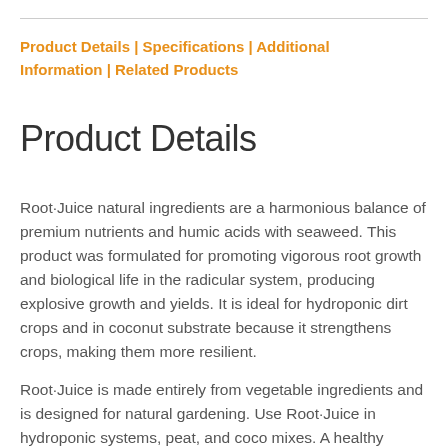Product Details | Specifications | Additional Information | Related Products
Product Details
Root·Juice natural ingredients are a harmonious balance of premium nutrients and humic acids with seaweed. This product was formulated for promoting vigorous root growth and biological life in the radicular system, producing explosive growth and yields. It is ideal for hydroponic dirt crops and in coconut substrate because it strengthens crops, making them more resilient.
Root·Juice is made entirely from vegetable ingredients and is designed for natural gardening. Use Root·Juice in hydroponic systems, peat, and coco mixes. A healthy